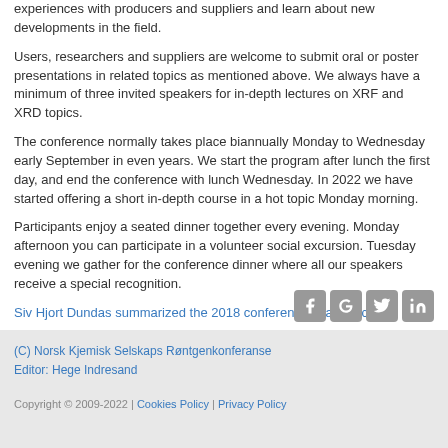experiences with producers and suppliers and learn about new developments in the field.
Users, researchers and suppliers are welcome to submit oral or poster presentations in related topics as mentioned above. We always have a minimum of three invited speakers for in-depth lectures on XRF and XRD topics.
The conference normally takes place biannually Monday to Wednesday early September in even years. We start the program after lunch the first day, and end the conference with lunch Wednesday. In 2022 we have started offering a short in-depth course in a hot topic Monday morning.
Participants enjoy a seated dinner together every evening. Monday afternoon you can participate in a volunteer social excursion. Tuesday evening we gather for the conference dinner where all our speakers receive a special recognition.
Siv Hjort Dundas summarized the 2018 conference in an article.
◄ Back
(C) Norsk Kjemisk Selskaps Røntgenkonferanse
Editor: Hege Indresand
Copyright © 2009-2022 | Cookies Policy | Privacy Policy